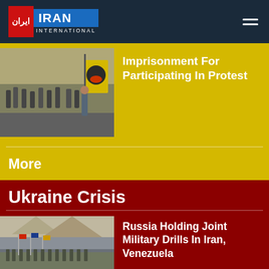Iran International
[Figure (photo): People marching holding a yellow flag with a gear and flame symbol]
Imprisonment For Participating In Protest
More
Ukraine Crisis
[Figure (photo): Military personnel standing in formation on a parade ground]
Russia Holding Joint Military Drills In Iran, Venezuela